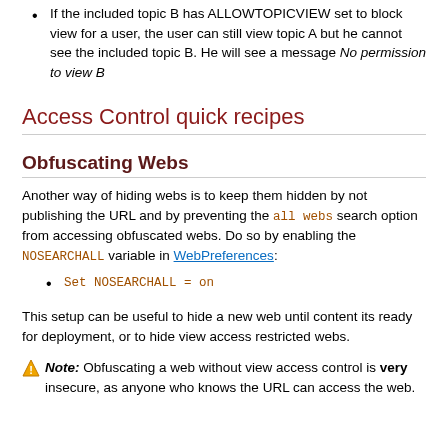If the included topic B has ALLOWTOPICVIEW set to block view for a user, the user can still view topic A but he cannot see the included topic B. He will see a message No permission to view B
Access Control quick recipes
Obfuscating Webs
Another way of hiding webs is to keep them hidden by not publishing the URL and by preventing the all webs search option from accessing obfuscated webs. Do so by enabling the NOSEARCHALL variable in WebPreferences:
Set NOSEARCHALL = on
This setup can be useful to hide a new web until content its ready for deployment, or to hide view access restricted webs.
Note: Obfuscating a web without view access control is very insecure, as anyone who knows the URL can access the web.